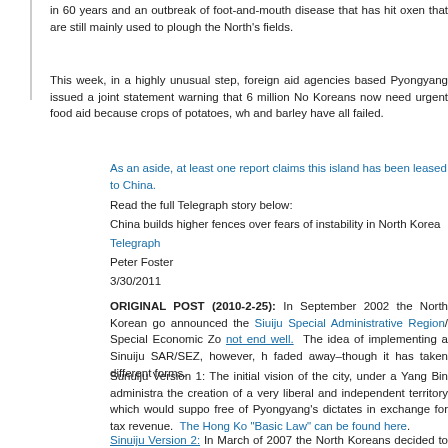in 60 years and an outbreak of foot-and-mouth disease that has hit oxen that are still mainly used to plough the North’s fields.
This week, in a highly unusual step, foreign aid agencies based Pyongyang issued a joint statement warning that 6 million No Koreans now need urgent food aid because crops of potatoes, wh and barley have all failed.
As an aside, at least one report claims this island has been leased to China.
Read the full Telegraph story below:
China builds higher fences over fears of instability in North Korea
Telegraph
Peter Foster
3/30/2011
ORIGINAL POST (2010-2-25): In September 2002 the North Korean go announced the Siuiju Special Administrative Region/ Special Economic Zo not end well. The idea of implementing a Sinuiju SAR/SEZ, however, h faded away–though it has taken different forms.
Sunuiju Version 1: The initial vision of the city, under a Yang Bin administra the creation of a very liberal and independent territory which would suppo free of Pyongyang’s dictates in exchange for tax revenue. The Hong Ko “Basic Law” can be found here.
Sinuiju Version 2: In March of 2007 the North Koreans decided to m SAR/SEZ territory out of the Sinuiju city center on two Islands in the Tume